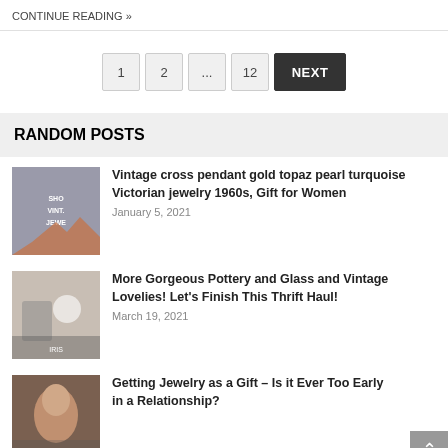CONTINUE READING »
1
2
...
12
NEXT
RANDOM POSTS
Vintage cross pendant gold topaz pearl turquoise Victorian jewelry 1960s, Gift for Women
January 5, 2021
More Gorgeous Pottery and Glass and Vintage Lovelies! Let's Finish This Thrift Haul!
March 19, 2021
Getting Jewelry as a Gift – Is it Ever Too Early in a Relationship?